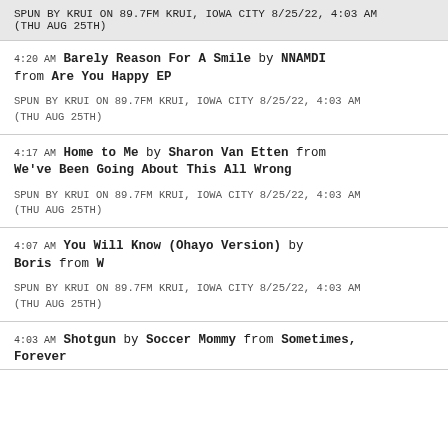SPUN BY KRUI ON 89.7FM KRUI, IOWA CITY 8/25/22, 4:03 AM (THU AUG 25TH)
4:20 AM Barely Reason For A Smile by NNAMDI from Are You Happy EP
SPUN BY KRUI ON 89.7FM KRUI, IOWA CITY 8/25/22, 4:03 AM (THU AUG 25TH)
4:17 AM Home to Me by Sharon Van Etten from We've Been Going About This All Wrong
SPUN BY KRUI ON 89.7FM KRUI, IOWA CITY 8/25/22, 4:03 AM (THU AUG 25TH)
4:07 AM You Will Know (Ohayo Version) by Boris from W
SPUN BY KRUI ON 89.7FM KRUI, IOWA CITY 8/25/22, 4:03 AM (THU AUG 25TH)
4:03 AM Shotgun by Soccer Mommy from Sometimes, Forever